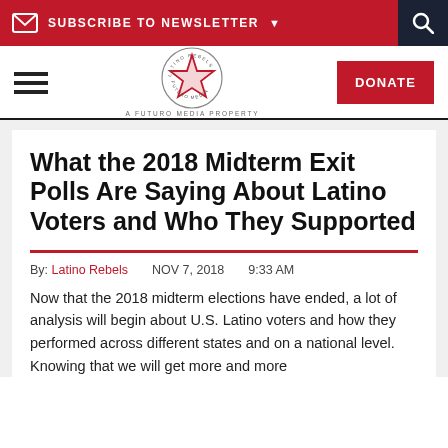SUBSCRIBE TO NEWSLETTER
[Figure (logo): Latino Rebels circular star logo with text 'A Futuro Media Property']
What the 2018 Midterm Exit Polls Are Saying About Latino Voters and Who They Supported
By: Latino Rebels   NOV 7, 2018   9:33 AM
Now that the 2018 midterm elections have ended, a lot of analysis will begin about U.S. Latino voters and how they performed across different states and on a national level. Knowing that we will get more and more